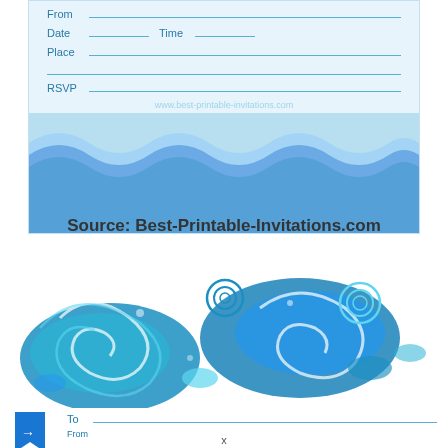[Figure (illustration): Top portion of a printable party invitation card with light blue background, form fields for From, Date, Time, Place, RSVP, a watermark URL www.best-printable-invitations.com, and a decorative wave pattern border at the bottom in shades of blue and teal.]
Source: Best-Printable-Invitations.com
[Figure (illustration): Bottom portion of a printable gift tag/card with swirling blue wave decorative art at the top, blue arrow/bookmark graphic on the left, and form fields for To and From below.]